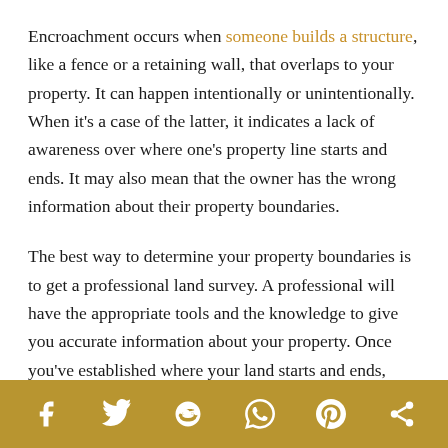Encroachment occurs when someone builds a structure, like a fence or a retaining wall, that overlaps to your property. It can happen intentionally or unintentionally. When it's a case of the latter, it indicates a lack of awareness over where one's property line starts and ends. It may also mean that the owner has the wrong information about their property boundaries.
The best way to determine your property boundaries is to get a professional land survey. A professional will have the appropriate tools and the knowledge to give you accurate information about your property. Once you've established where your land starts and ends, then you can mark it and declare ownership.
Social share bar: Facebook, Twitter, Reddit, WhatsApp, Pinterest, Share